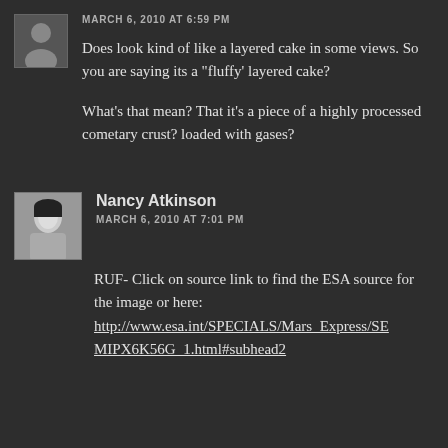MARCH 6, 2010 AT 6:59 PM
Does look kind of like a layered cake in some views. So you are saying its a "fluffy' layered cake?
What's that mean? That it's a piece of a highly processed cometary crust? loaded with gases?
Nancy Atkinson
MARCH 6, 2010 AT 7:01 PM
RUF- Click on source link to find the ESA source for the image or here: http://www.esa.int/SPECIALS/Mars_Express/SEMIPX6K56G_1.html#subhead2